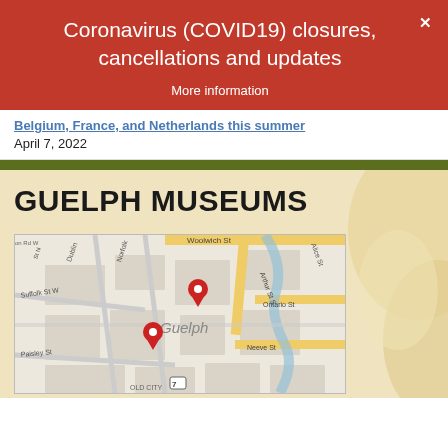Coronavirus (COVID19) closures, cancellations and updates
More information
Belgium, France, and Netherlands this summer
April 7, 2022
GUELPH MUSEUMS
[Figure (map): Google Maps view of Guelph, Ontario showing streets including Woolwich St, Dublin St, Norfolk St, Suffolk St W, Arthur St S, Ontario St, Neeve St, Paisley St, Alice St, and two red map pin markers indicating museum locations in downtown Guelph.]